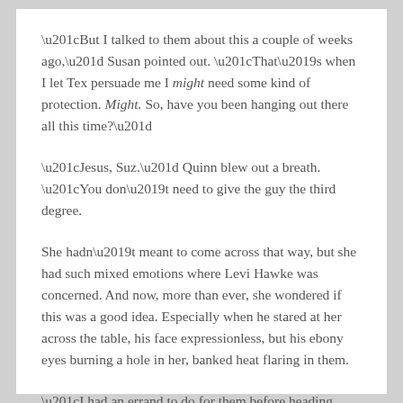“But I talked to them about this a couple of weeks ago,” Susan pointed out. “That’s when I let Tex persuade me I might need some kind of protection. Might. So, have you been hanging out there all this time?”
“Jesus, Suz.” Quinn blew out a breath. “You don’t need to give the guy the third degree.
She hadn’t meant to come across that way, but she had such mixed emotions where Levi Hawke was concerned. And now, more than ever, she wondered if this was a good idea. Especially when he stared at her across the table, his face expressionless, but his ebony eyes burning a hole in her, banked heat flaring in them.
“I had an errand to do for them before heading down here.”